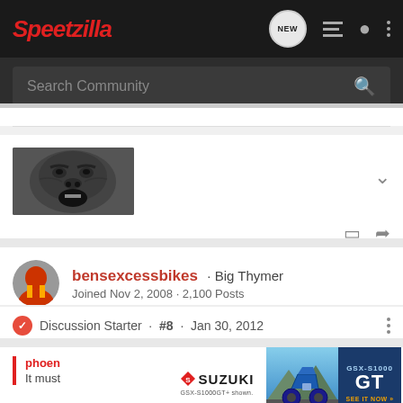Speedzilla navigation bar with NEW, list, user, and menu icons
Search Community
[Figure (photo): Close-up grayscale image of a gorilla face, mouth open, screaming]
bensexcessbikes · Big Thymer
Joined Nov 2, 2008 · 2,100 Posts
Discussion Starter · #8 · Jan 30, 2012
phoen
It must
[Figure (screenshot): Suzuki GSX-S1000 GT advertisement banner]